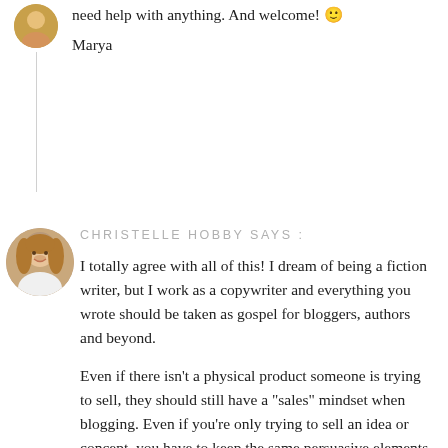need help with anything. And welcome! 🙂
Marya
[Figure (photo): Circular profile photo of a person with a colorful top, partially visible at top of page]
[Figure (photo): Circular profile photo of Christelle Hobby, a woman with wavy hair smiling]
CHRISTELLE HOBBY SAYS :
I totally agree with all of this! I dream of being a fiction writer, but I work as a copywriter and everything you wrote should be taken as gospel for bloggers, authors and beyond.
Even if there isn't a physical product someone is trying to sell, they should still have a "sales" mindset when blogging. Even if you're only trying to sell an idea or concept, you have to keep the same persuasive elements of copywriting in